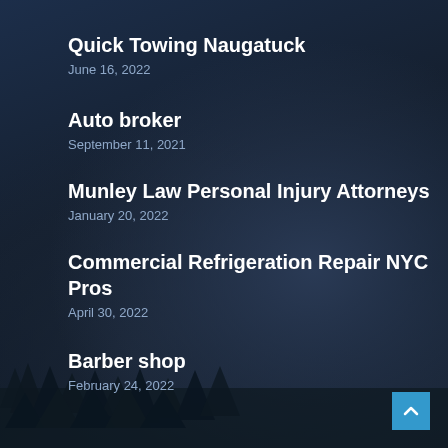Quick Towing Naugatuck
June 16, 2022
Auto broker
September 11, 2021
Munley Law Personal Injury Attorneys
January 20, 2022
Commercial Refrigeration Repair NYC Pros
April 30, 2022
Barber shop
February 24, 2022